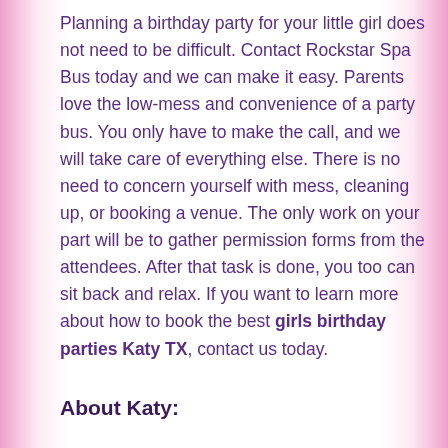Planning a birthday party for your little girl does not need to be difficult. Contact Rockstar Spa Bus today and we can make it easy. Parents love the low-mess and convenience of a party bus. You only have to make the call, and we will take care of everything else. There is no need to concern yourself with mess, cleaning up, or booking a venue. The only work on your part will be to gather permission forms from the attendees. After that task is done, you too can sit back and relax. If you want to learn more about how to book the best girls birthday parties Katy TX, contact us today.
About Katy: